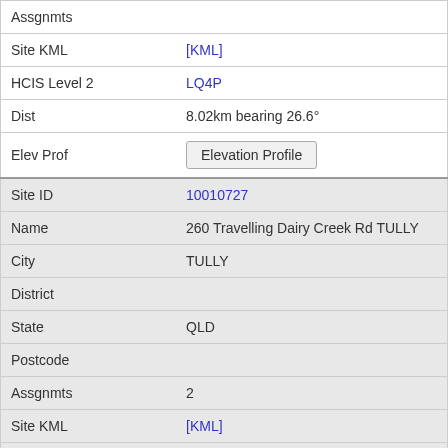| Assgnmts |  |
| Site KML | [KML] |
| HCIS Level 2 | LQ4P |
| Dist | 8.02km bearing 26.6° |
| Elev Prof | Elevation Profile |
| Site ID | 10010727 |
| Name | 260 Travelling Dairy Creek Rd TULLY |
| City | TULLY |
| District |  |
| State | QLD |
| Postcode |  |
| Assgnmts | 2 |
| Site KML | [KML] |
| HCIS Level 2 | LQ4P |
| Dist | 8.30km bearing 263.8° |
| Elev Prof | Elevation Profile |